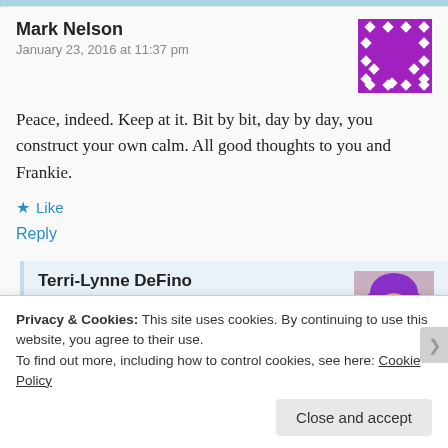Mark Nelson
January 23, 2016 at 11:37 pm
[Figure (illustration): Purple pixelated avatar with diamond/dot pattern on purple background]
Peace, indeed. Keep at it. Bit by bit, day by day, you construct your own calm. All good thoughts to you and Frankie.
Like
Reply
Terri-Lynne DeFino
January 25, 2016 at 3:38 pm
[Figure (photo): Photo of a woman with purple hair]
Privacy & Cookies: This site uses cookies. By continuing to use this website, you agree to their use.
To find out more, including how to control cookies, see here: Cookie Policy
Close and accept